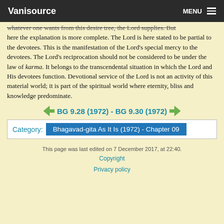Vanisource  MENU
whatever one wants from this desire tree, the Lord supplies. But here the explanation is more complete. The Lord is here stated to be partial to the devotees. This is the manifestation of the Lord's special mercy to the devotees. The Lord's reciprocation should not be considered to be under the law of karma. It belongs to the transcendental situation in which the Lord and His devotees function. Devotional service of the Lord is not an activity of this material world; it is part of the spiritual world where eternity, bliss and knowledge predominate.
BG 9.28 (1972) - BG 9.30 (1972)
Category:  Bhagavad-gita As It Is (1972) - Chapter 09
This page was last edited on 7 December 2017, at 22:40.
Copyright
Privacy policy